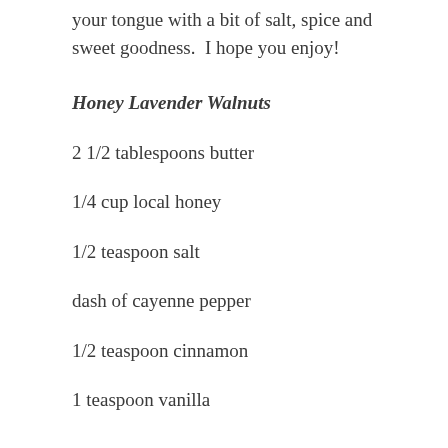your tongue with a bit of salt, spice and sweet goodness.  I hope you enjoy!
Honey Lavender Walnuts
2 1/2 tablespoons butter
1/4 cup local honey
1/2 teaspoon salt
dash of cayenne pepper
1/2 teaspoon cinnamon
1 teaspoon vanilla